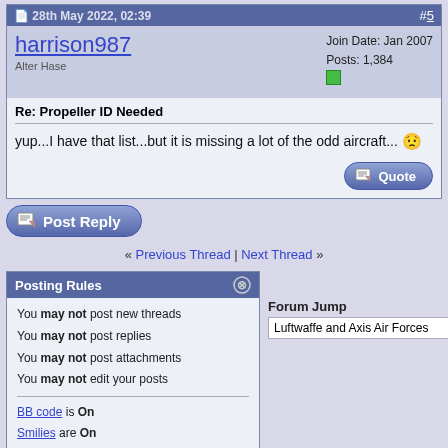28th May 2022, 02:39  #5
harrison987
Alter Hase
Join Date: Jan 2007
Posts: 1,384
Re: Propeller ID Needed
yup...I have that list...but it is missing a lot of the odd aircraft... 😞
« Previous Thread | Next Thread »
Posting Rules
You may not post new threads
You may not post replies
You may not post attachments
You may not edit your posts
BB code is On
Smilies are On
[IMG] code is On
HTML code is Off
Forum Jump
Luftwaffe and Axis Air Forces
Similar Threads